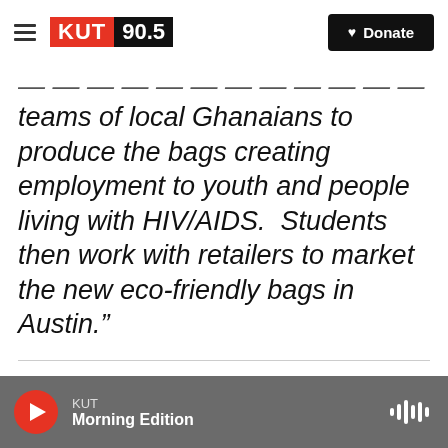KUT 90.5 | Donate
teams of local Ghanaians to produce the bags creating employment to youth and people living with HIV/AIDS.  Students then work with retailers to market the new eco-friendly bags in Austin.”
The bags should be available in the coming months at local retailers.
KUT Morning Edition